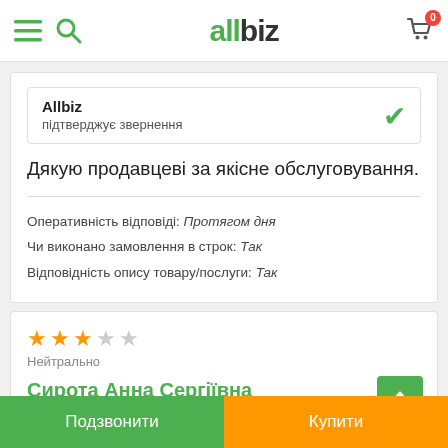allbiz
Allbiz підтверджує звернення
Дякую продавцеві за якісне обслуговування.
Оперативність відповіді: Протягом дня
Чи виконано замовлення в строк: Так
Відповідність опису товару/послуги: Так
Нейтрально
Сирота Анна Сергіївна
04.08.2018
Подзвонити  Купити